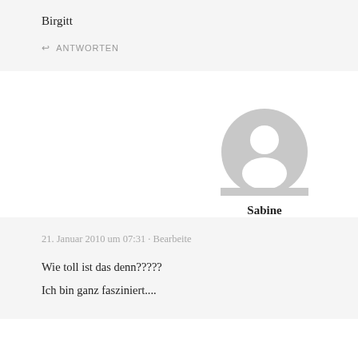Birgitt
↩ ANTWORTEN
[Figure (illustration): Default user avatar: grey circle with silhouette of a person (head and shoulders)]
Sabine
21. Januar 2010 um 07:31 · Bearbeite
Wie toll ist das denn?????
Ich bin ganz fasziniert....